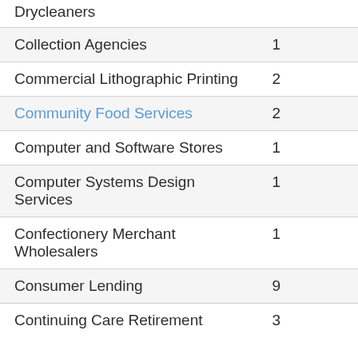| Category | Count |
| --- | --- |
| Drycleaners |  |
| Collection Agencies | 1 |
| Commercial Lithographic Printing | 2 |
| Community Food Services | 2 |
| Computer and Software Stores | 1 |
| Computer Systems Design Services | 1 |
| Confectionery Merchant Wholesalers | 1 |
| Consumer Lending | 9 |
| Continuing Care Retirement | 3 |